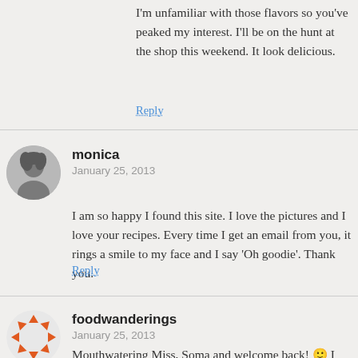I'm unfamiliar with those flavors so you've peaked my interest. I'll be on the hunt at the shop this weekend. It look delicious.
Reply
monica
January 25, 2013
I am so happy I found this site. I love the pictures and I love your recipes. Every time I get an email from you, it rings a smile to my face and I say 'Oh goodie'. Thank you.
Reply
foodwanderings
January 25, 2013
Mouthwatering Miss, Soma and welcome back! 🙂 I wish we lived closer to catch up. I have been following what's happening and I know it must not be easy. Thinking of you. Shulie